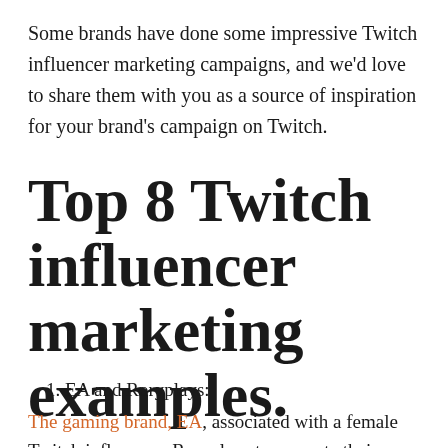Some brands have done some impressive Twitch influencer marketing campaigns, and we'd love to share them with you as a source of inspiration for your brand's campaign on Twitch.
Top 8 Twitch influencer marketing examples.
1. EA and Roryplays:
The gaming brand, EA, associated with a female Twitch influencer; Roryplays to promote their game;